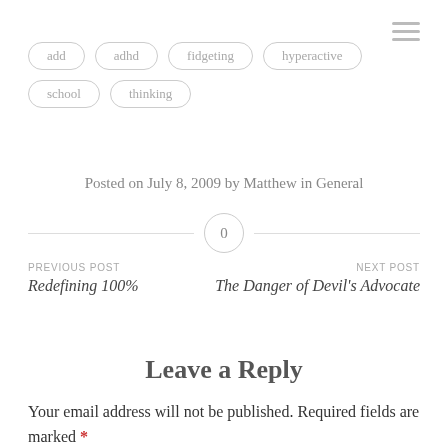add
adhd
fidgeting
hyperactive
school
thinking
Posted on July 8, 2009 by Matthew in General
0
PREVIOUS POST
Redefining 100%
NEXT POST
The Danger of Devil's Advocate
Leave a Reply
Your email address will not be published. Required fields are marked *